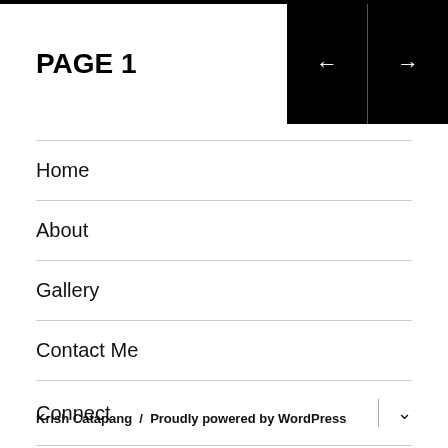PAGE 1
Home
About
Gallery
Contact Me
Connect
Krish Catapang / Proudly powered by WordPress